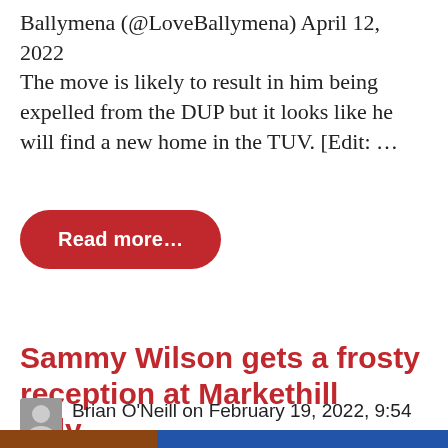Ballymena (@LoveBallymena) April 12, 2022 The move is likely to result in him being expelled from the DUP but it looks like he will find a new home in the TUV. [Edit: ...
Read more…
Sammy Wilson gets a frosty reception at Markethill rally…
Brian O'Neill on February 19, 2022, 9:54 am  152 Comments | Readers 7742